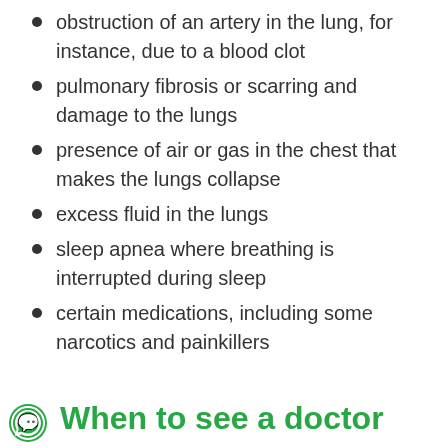obstruction of an artery in the lung, for instance, due to a blood clot
pulmonary fibrosis or scarring and damage to the lungs
presence of air or gas in the chest that makes the lungs collapse
excess fluid in the lungs
sleep apnea where breathing is interrupted during sleep
certain medications, including some narcotics and painkillers
When to see a doctor